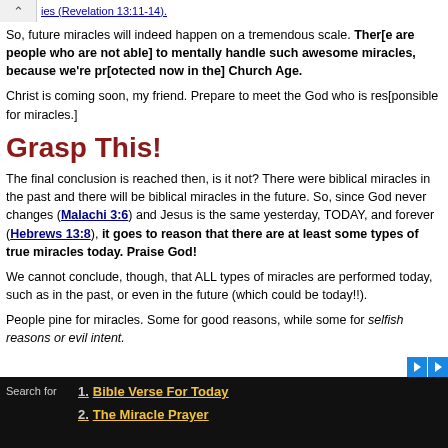ies (Revelation 13:11-14).
So, future miracles will indeed happen on a tremendous scale. There [are people who are not able] to mentally handle such awesome miracles, because we're pro[tected now in the] Church Age.
Christ is coming soon, my friend. Prepare to meet the God who is res[ponsible for miracles.]
Grasp This!
The final conclusion is reached then, is it not? There were biblical miracles in the past and there will be biblical miracles in the future. So, since God never changes (Malachi 3:6) and Jesus is the same yesterday, TODAY, and forever (Hebrews 13:8), it goes to reason that there are at least some types of true miracles today. Praise God!
We cannot conclude, though, that ALL types of miracles are performed today, such as in the past, or even in the future (which could be today!!).
People pine for miracles. Some for good reasons, while some for selfish reasons or evil intent.
1. Bible Verse For Today
2. The Miracle Prayer